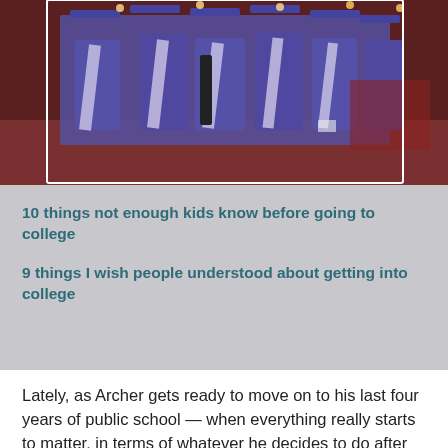[Figure (photo): Graduation ceremony photo showing rows of students in purple graduation gowns and caps, viewed from behind, in a large auditorium with red seats]
10 things not enough kids know before going to college
9 things I wish people understood about getting into college
Lately, as Archer gets ready to move on to his last four years of public school — when everything really starts to matter, in terms of whatever he decides to do after he graduates — I find myself wondering if I